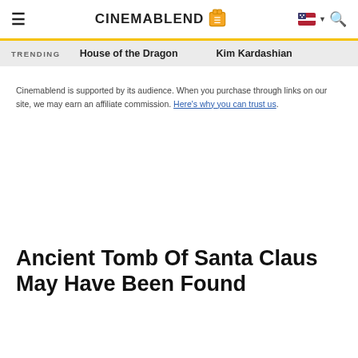CinemaBlend
TRENDING   House of the Dragon   Kim Kardashian
Cinemablend is supported by its audience. When you purchase through links on our site, we may earn an affiliate commission. Here's why you can trust us.
Ancient Tomb Of Santa Claus May Have Been Found